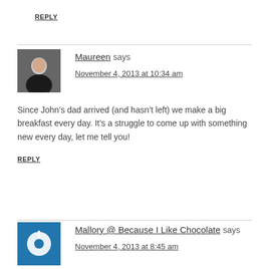REPLY
Maureen says
November 4, 2013 at 10:34 am
Since John’s dad arrived (and hasn’t left) we make a big breakfast every day. It’s a struggle to come up with something new every day, let me tell you!
REPLY
Mallory @ Because I Like Chocolate says
November 4, 2013 at 8:45 am